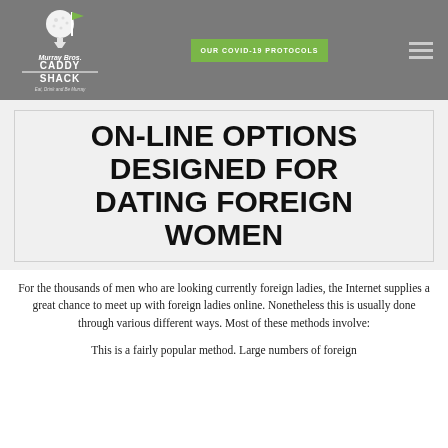Murray Bros Caddy Shack — OUR COVID-19 PROTOCOLS — navigation menu
ON-LINE OPTIONS DESIGNED FOR DATING FOREIGN WOMEN
For the thousands of men who are looking currently foreign ladies, the Internet supplies a great chance to meet up with foreign ladies online. Nonetheless this is usually done through various different ways. Most of these methods involve:
This is a fairly popular method. Large numbers of foreign